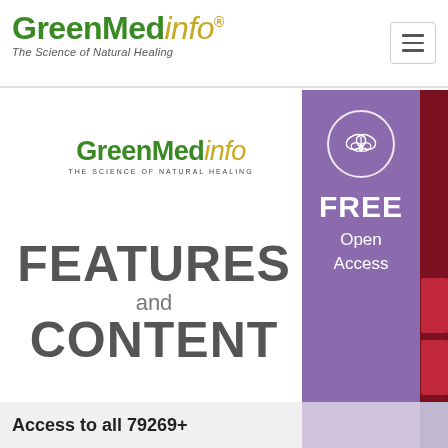[Figure (logo): GreenMedInfo logo with tagline 'The Science of Natural Healing' in header]
[Figure (logo): GreenMedInfo logo centered in main content area]
FEATURES and CONTENT
[Figure (illustration): Purple sidebar with butterfly icon in circle, FREE Open Access text]
Access to all 79269+